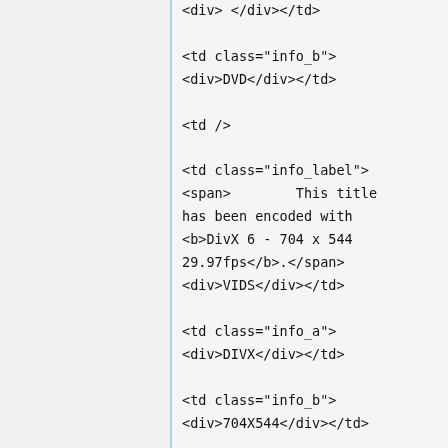<div> </div></td>

<td class="info_b">
<div>DVD</div></td>

<td />

<td class="info_label">
<span>        This title has been encoded with <b>DivX 6 - 704 x 544 29.97fps</b>.</span>
<div>VIDS</div></td>

<td class="info_a">
<div>DIVX</div></td>

<td class="info_b">
<div>704X544</div></td>

<td />

<td class="info_label">
<span>        This title utilized <b>MPEG Audio